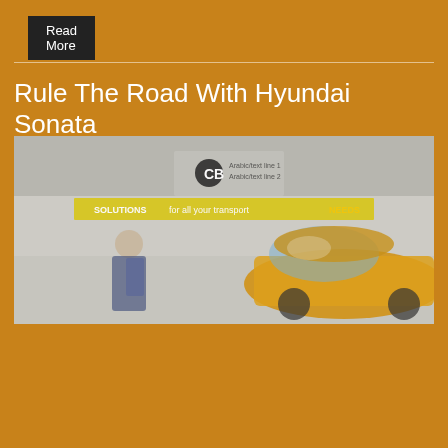Read More
Rule The Road With Hyundai Sonata
[Figure (photo): Blurred advertisement image showing a yellow car and a person standing near it, with a logo and text banner reading 'for all your transport needs']